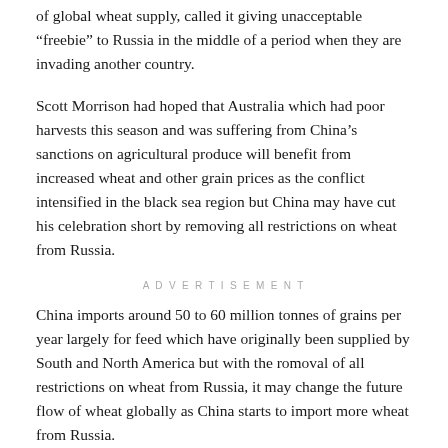of global wheat supply, called it giving unacceptable 'freebie' to Russia in the middle of a period when they are invading another country.
Scott Morrison had hoped that Australia which had poor harvests this season and was suffering from China's sanctions on agricultural produce will benefit from increased wheat and other grain prices as the conflict intensified in the black sea region but China may have cut his celebration short by removing all restrictions on wheat from Russia.
ADVERTISEMENT
China imports around 50 to 60 million tonnes of grains per year largely for feed which have originally been supplied by South and North America but with the romoval of all restrictions on wheat from Russia, it may change the future flow of wheat globally as China starts to import more wheat from Russia.